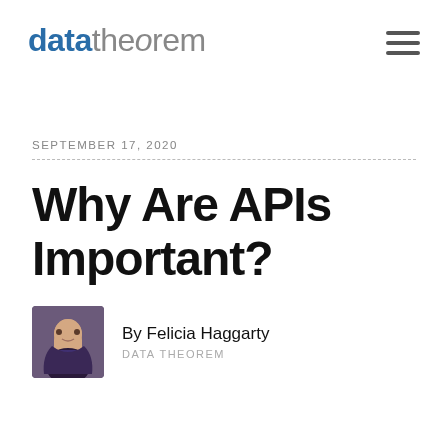datatheorem
SEPTEMBER 17, 2020
Why Are APIs Important?
By Felicia Haggarty
DATA THEOREM